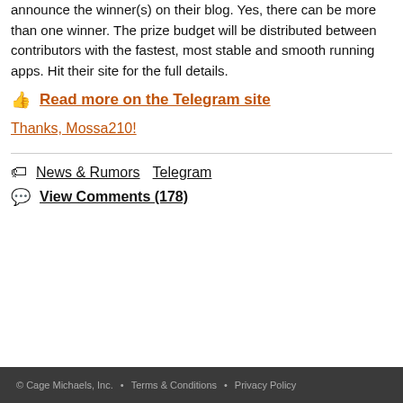announce the winner(s) on their blog. Yes, there can be more than one winner. The prize budget will be distributed between contributors with the fastest, most stable and smooth running apps. Hit their site for the full details.
👍 Read more on the Telegram site
Thanks, Mossa210!
🏷 News & Rumors   Telegram
💬 View Comments (178)
© Cage Michaels, Inc. • Terms & Conditions • Privacy Policy